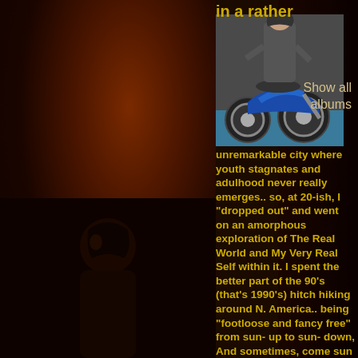in a rather
[Figure (photo): Woman standing next to a blue custom chopper motorcycle in a garage setting]
Show all albums
unremarkable city where youth stagnates and adulhood never really emerges.. so, at 20-ish, I "dropped out" and went on an amorphous exploration of The Real World and My Very Real Self within it. I spent the better part of the 90's (that's 1990's) hitch hiking around N. America.. being "footloose and fancy free" from sun- up to sun- down, And sometimes, come sun down, I would have to find rather creative bedding-down places (oh, the stories I want to tell..).
[Figure (photo): Person photographed from behind/side in low light on the left side of the page]